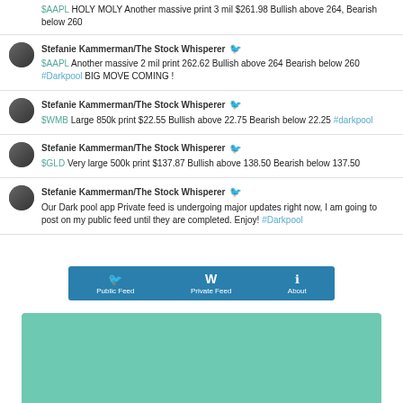$AAPL HOLY MOLY Another massive print 3 mil $261.98 Bullish above 264, Bearish below 260
Stefanie Kammerman/The Stock Whisperer — $AAPL Another massive 2 mil print 262.62 Bullish above 264 Bearish below 260 #Darkpool BIG MOVE COMING !
Stefanie Kammerman/The Stock Whisperer — $WMB Large 850k print $22.55 Bullish above 22.75 Bearish below 22.25 #darkpool
Stefanie Kammerman/The Stock Whisperer — $GLD Very large 500k print $137.87 Bullish above 138.50 Bearish below 137.50
Stefanie Kammerman/The Stock Whisperer — Our Dark pool app Private feed is undergoing major updates right now, I am going to post on my public feed until they are completed. Enjoy! #Darkpool
[Figure (screenshot): Navigation bar with Public Feed, Private Feed, About tabs on blue background]
[Figure (illustration): Teal/mint green block at bottom of page]